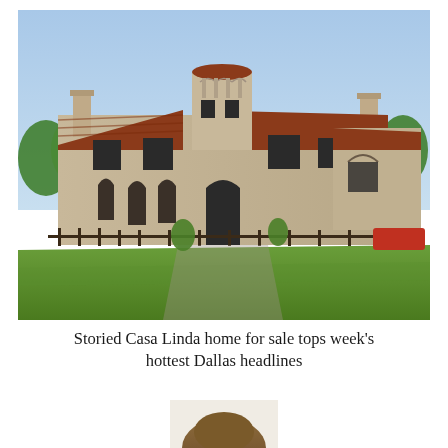[Figure (photo): Exterior photo of a large two-story Spanish/Mediterranean-style home with terracotta tile roof, light stone/brick exterior, arched windows and doorways, a central belvedere tower, wrought-iron fence, and a large green lawn in the foreground. Taken on a sunny day with a clear blue sky.]
Storied Casa Linda home for sale tops week's hottest Dallas headlines
[Figure (photo): Partial view of a person's head/hat visible at the bottom of the page, cropped.]